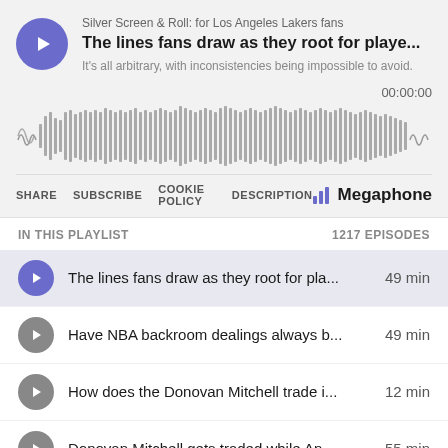Silver Screen & Roll: for Los Angeles Lakers fans
The lines fans draw as they root for playe...
It's all arbitrary, with inconsistencies being impossible to avoid.
00:00:00
[Figure (other): Audio waveform visualization showing podcast audio bars]
SHARE  SUBSCRIBE  COOKIE POLICY  DESCRIPTION  Megaphone
IN THIS PLAYLIST
1217 EPISODES
The lines fans draw as they root for pla...  49 min
Have NBA backroom dealings always b...  49 min
How does the Donovan Mitchell trade i...  12 min
Donovan Mitchell gets traded while An...  55 min